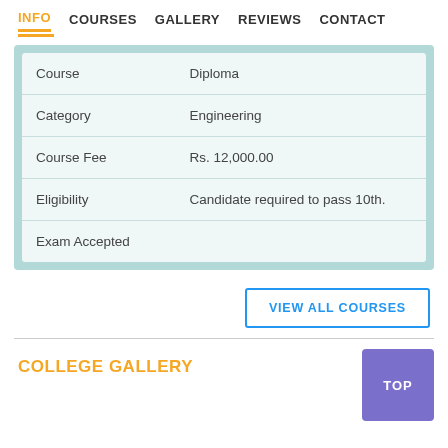INFO  COURSES  GALLERY  REVIEWS  CONTACT
|  |  |
| --- | --- |
| Course | Diploma |
| Category | Engineering |
| Course Fee | Rs. 12,000.00 |
| Eligibility | Candidate required to pass 10th. |
| Exam Accepted |  |
VIEW ALL COURSES
COLLEGE GALLERY